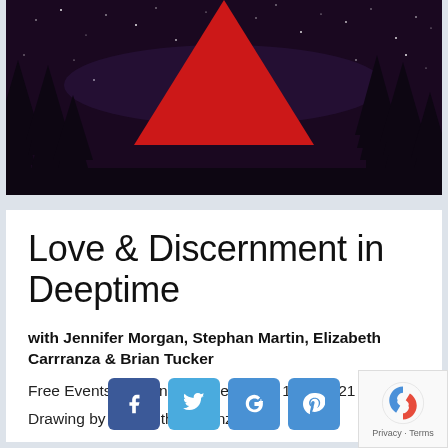[Figure (illustration): Night sky with stars background and a large red inverted triangle/heart shape at top center, with dark conifer tree silhouettes along the bottom]
Love & Discernment in Deeptime
with Jennifer Morgan, Stephan Martin, Elizabeth Carrranza & Brian Tucker
Free Events happened on Feb. 10 & 12th, 2021
Drawing by Elizabeth Carranza
[Figure (other): Social media sharing buttons: Facebook, Twitter, Google+, Pinterest]